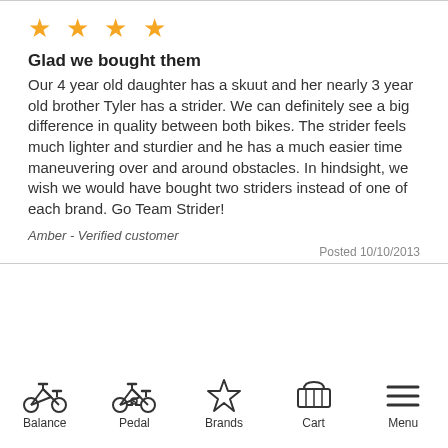[Figure (other): Four gold star rating icons]
Glad we bought them
Our 4 year old daughter has a skuut and her nearly 3 year old brother Tyler has a strider. We can definitely see a big difference in quality between both bikes. The strider feels much lighter and sturdier and he has a much easier time maneuvering over and around obstacles. In hindsight, we wish we would have bought two striders instead of one of each brand. Go Team Strider!
Amber - Verified customer
Posted 10/10/2013
Balance  Pedal  Brands  Cart  Menu